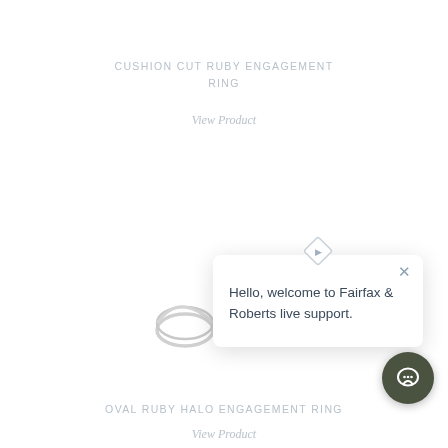CUSHION CUT RUBY ENGAGEMENT RING
View Product
[Figure (screenshot): Chat popup with diamond-shaped icon at top, close X button, and text: Hello, welcome to Fairfax & Roberts live support.]
[Figure (photo): Partial view of a silver engagement ring]
[Figure (illustration): Dark olive green circular chat support button with speech bubble icon]
OVAL RUBY HALO ENGAGEMENT RING
View Product